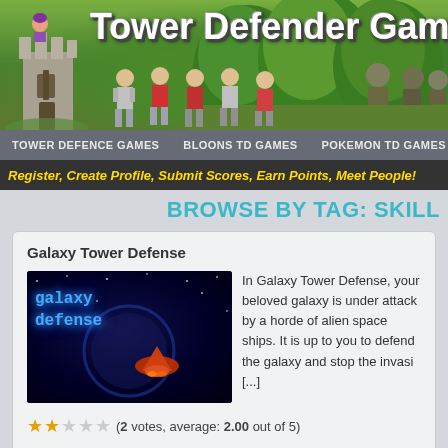[Figure (illustration): Tower Defender Games website header banner with castle tower on left, medieval characters, green jungle trees in background, and large white bold title text 'Tower Defender Games']
TOWER DEFENCE GAMES | BLOONS TD GAMES | POKEMON TD GAMES
Register, Create Profile, Submit Scores, Earn Points, Meet People!
BROWSE BY TAG: SKILL
Galaxy Tower Defense
[Figure (screenshot): Galaxy Defense game thumbnail — dark space background with glowing blue text 'galaxy defense' and a spacecraft in lower right]
In Galaxy Tower Defense, your beloved galaxy is under attack by a horde of alien space ships. It is up to you to defend the galaxy and stop the invasi [...]
(2 votes, average: 2.00 out of 5)